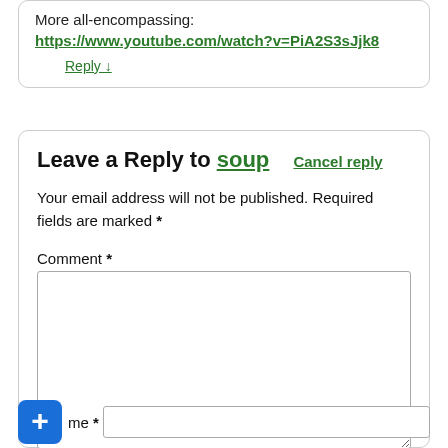More all-encompassing:
https://www.youtube.com/watch?v=PiA2S3sJjk8
Reply ↓
Leave a Reply to soup  Cancel reply
Your email address will not be published. Required fields are marked *
Comment *
me *